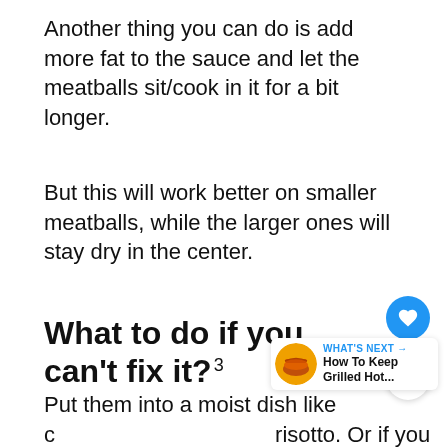Another thing you can do is add more fat to the sauce and let the meatballs sit/cook in it for a bit longer.
But this will work better on smaller meatballs, while the larger ones will stay dry in the center.
What to do if you can't fix it?
Put them into a moist dish like a risotto. Or if you happen to have some filo pastry on hand, make a quick filo...